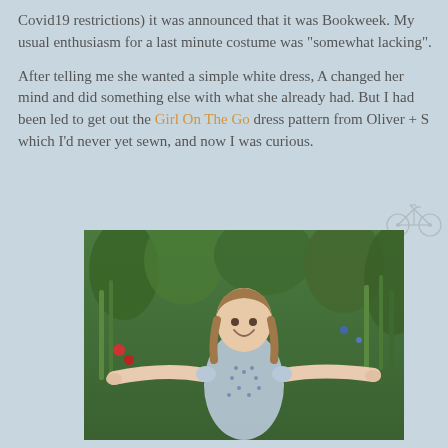Covid19 restrictions) it was announced that it was Bookweek. My usual enthusiasm for a last minute costume was "somewhat lacking".

After telling me she wanted a simple white dress, A changed her mind and did something else with what she already had. But I had been led to get out the Girl On The Go dress pattern from Oliver + S which I'd never yet sewn, and now I was curious.
[Figure (photo): A smiling young woman with long brown hair wearing a blue floral short-sleeved dress, arms outstretched wide, standing in front of a lush green garden background with various plants and red flowers.]